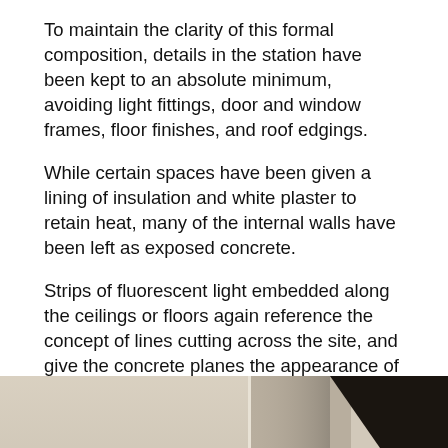To maintain the clarity of this formal composition, details in the station have been kept to an absolute minimum, avoiding light fittings, door and window frames, floor finishes, and roof edgings.
While certain spaces have been given a lining of insulation and white plaster to retain heat, many of the internal walls have been left as exposed concrete.
Strips of fluorescent light embedded along the ceilings or floors again reference the concept of lines cutting across the site, and give the concrete planes the appearance of glowing.
Even the balustrade of the staircase, which is positioned in a void where two forms intersect, is designed as four parallel handrails at different heights that ensure its upwards, angled trajectory is not broken by the landing areas.
[Figure (photo): Bottom portion of a photograph showing interior architectural space with concrete walls and a dark diagonal element on the right side]